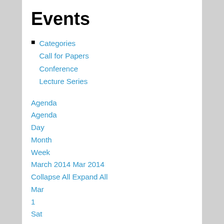Events
Categories
Call for Papers
Conference
Lecture Series
Agenda
Agenda
Day
Month
Week
March 2014 Mar 2014
Collapse All Expand All
Mar
1
Sat
CFP: Free Will Conference @ University of Michigan -- Flint, MI